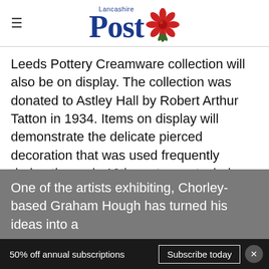Lancashire Post
Leeds Pottery Creamware collection will also be on display. The collection was donated to Astley Hall by Robert Arthur Tatton in 1934. Items on display will demonstrate the delicate pierced decoration that was used frequently during the early 19th century, a technique that was very difficult to execute.
One of the artists exhibiting, Chorley-based Graham Hough has turned his ideas into a
50% off annual subscriptions   Subscribe today